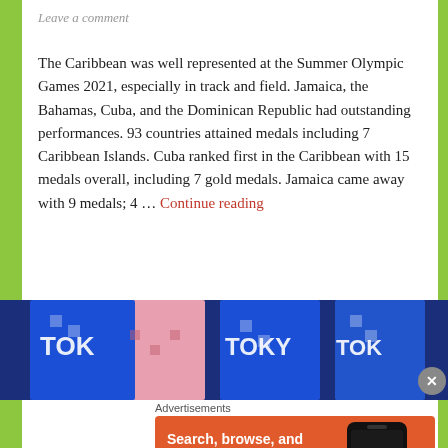Leave a comment
The Caribbean was well represented at the Summer Olympic Games 2021, especially in track and field. Jamaica, the Bahamas, Cuba, and the Dominican Republic had outstanding performances. 93 countries attained medals including 7 Caribbean Islands. Cuba ranked first in the Caribbean with 15 medals overall, including 7 gold medals. Jamaica came away with 9 medals; 4 … Continue reading
[Figure (photo): Tokyo Olympic medals/ribbons, blue and pink colors with TOKYO text visible]
Advertisements
[Figure (screenshot): DuckDuckGo advertisement: Search, browse, and email with more privacy. All in One Free App. Shows DuckDuckGo logo on phone.]